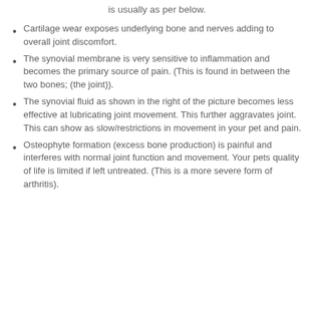is usually as per below.
Cartilage wear exposes underlying bone and nerves adding to overall joint discomfort.
The synovial membrane is very sensitive to inflammation and becomes the primary source of pain. (This is found in between the two bones; (the joint)).
The synovial fluid as shown in the right of the picture becomes less effective at lubricating joint movement. This further aggravates joint. This can show as slow/restrictions in movement in your pet and pain.
Osteophyte formation (excess bone production) is painful and interferes with normal joint function and movement. Your pets quality of life is limited if left untreated. (This is a more severe form of arthritis).